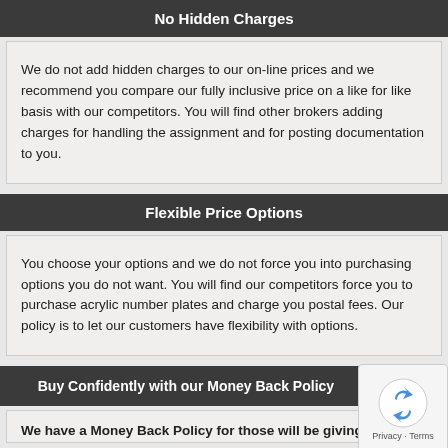No Hidden Charges
We do not add hidden charges to our on-line prices and we recommend you compare our fully inclusive price on a like for like basis with our competitors. You will find other brokers adding charges for handling the assignment and for posting documentation to you.
Flexible Price Options
You choose your options and we do not force you into purchasing options you do not want. You will find our competitors force you to purchase acrylic number plates and charge you postal fees. Our policy is to let our customers have flexibility with options.
Buy Confidently with our Money Back Policy
We have a Money Back Policy for those will be giving in the